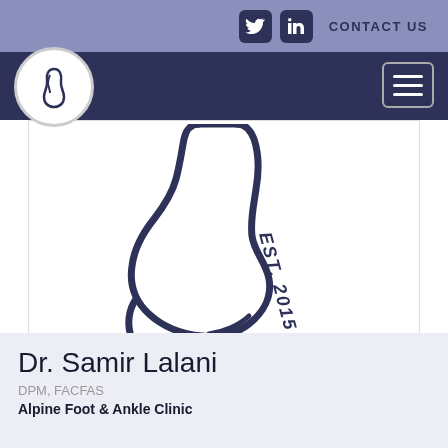CONTACT US
[Figure (logo): Alpine Foot & Ankle Clinic circular logo with foot/ankle silhouette outline]
[Figure (logo): Large foot and ankle outline illustration with 'EST. 2015' text along the ankle, dark navy color on white background]
Dr. Samir Lalani
DPM, FACFAS
Alpine Foot & Ankle Clinic